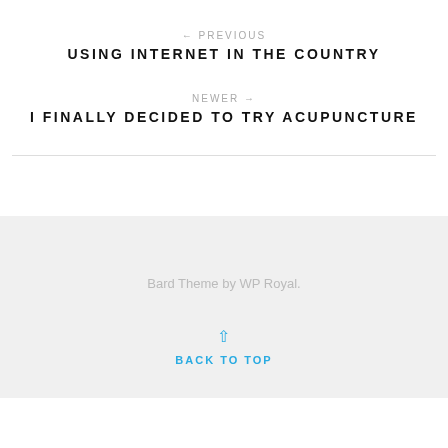← PREVIOUS
USING INTERNET IN THE COUNTRY
NEWER →
I FINALLY DECIDED TO TRY ACUPUNCTURE
Bard Theme by WP Royal.
BACK TO TOP